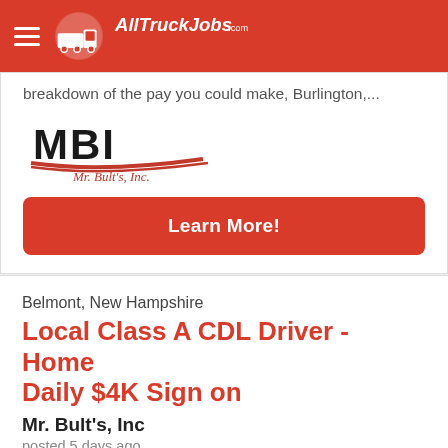AllTruckJobs.com
breakdown of the pay you could make, Burlington,...
[Figure (logo): MBI Mr. Bult's, Inc. company logo]
Learn More!
Belmont, New Hampshire
Local Class A CDL Driver - Home Daily $4K Sign on
Mr. Bult's, Inc
posted 5 days ago
Our local drivers haul trash and recycling from transfer stations to landfills and MRF's. Drivers also tarp and un-tarp the loads.Our pay is a per load basis which rewards hard workers, below is a